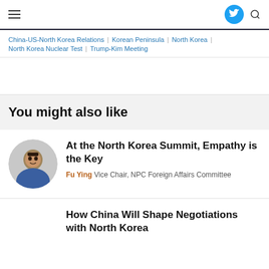Navigation bar with hamburger menu, Twitter icon, and search icon
China-US-North Korea Relations | Korean Peninsula | North Korea | North Korea Nuclear Test | Trump-Kim Meeting
You might also like
At the North Korea Summit, Empathy is the Key
Fu Ying Vice Chair, NPC Foreign Affairs Committee
How China Will Shape Negotiations with North Korea